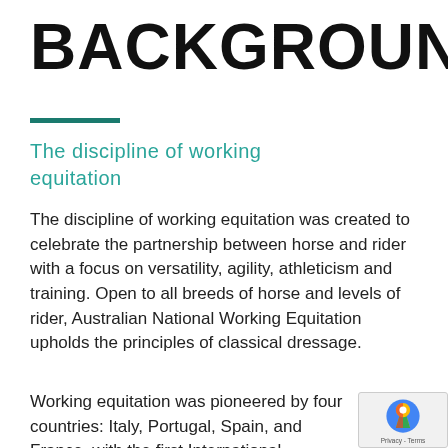BACKGROUND
The discipline of working equitation
The discipline of working equitation was created to celebrate the partnership between horse and rider with a focus on versatility, agility, athleticism and training. Open to all breeds of horse and levels of rider, Australian National Working Equitation upholds the principles of classical dressage.
Working equitation was pioneered by four countries: Italy, Portugal, Spain, and France, with the first International